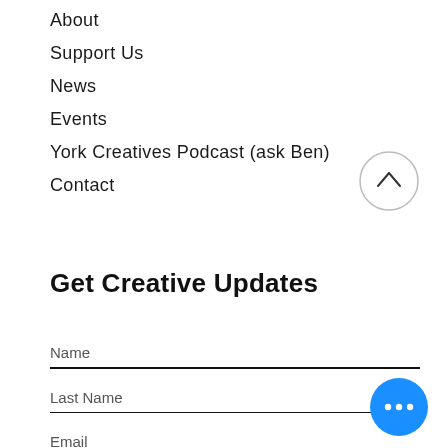About
Support Us
News
Events
York Creatives Podcast (ask Ben)
Contact
[Figure (illustration): Circular button with upward chevron arrow for scrolling to top]
Get Creative Updates
Name
Last Name
Email
[Figure (illustration): Blue circular button with three white dots (more options / chat button)]